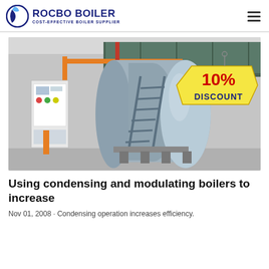ROCBO BOILER — COST-EFFECTIVE BOILER SUPPLIER
[Figure (photo): Industrial boiler installation in a facility showing large horizontal cylindrical boiler tanks on a platform with metal stairs, orange piping, and a control panel on the left. A '10% DISCOUNT' badge is overlaid on the upper right of the image.]
Using condensing and modulating boilers to increase
Nov 01, 2008 · Condensing operation increases efficiency.